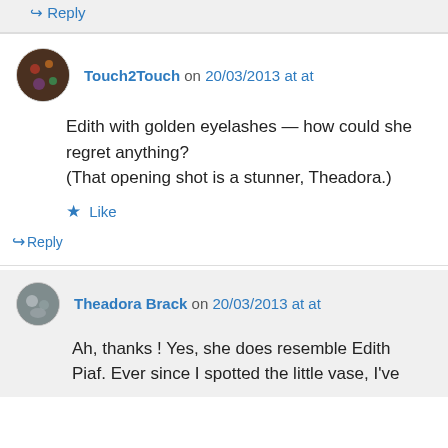↳ Reply (top partial, in gray block)
Touch2Touch on 20/03/2013 at at
Edith with golden eyelashes — how could she regret anything?
(That opening shot is a stunner, Theadora.)
★ Like
↳ Reply
Theadora Brack on 20/03/2013 at at
Ah, thanks ! Yes, she does resemble Edith Piaf. Ever since I spotted the little vase, I've